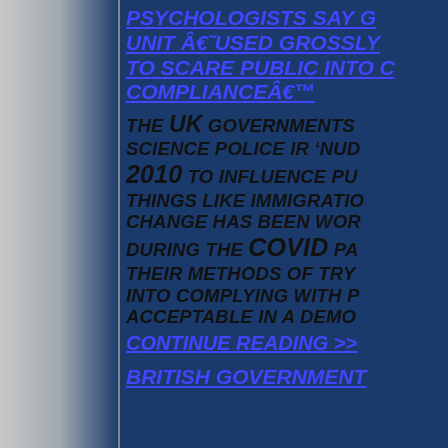Psychologists say G... unit â€˜used grossly... to scare public into c... complianceâ€™
The UK governments science police ir 'nud... 2010 to influence pu... things like immigratio... change has been wor... during the COVID pa... their methods of tryi... into complying with p... acceptable in a demo...
Continue reading >>>
British Government...